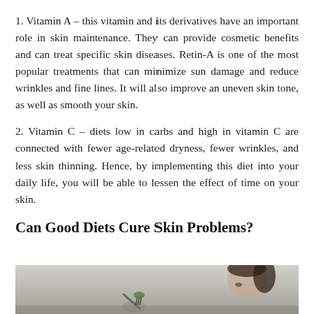1. Vitamin A – this vitamin and its derivatives have an important role in skin maintenance. They can provide cosmetic benefits and can treat specific skin diseases. Retin-A is one of the most popular treatments that can minimize sun damage and reduce wrinkles and fine lines. It will also improve an uneven skin tone, as well as smooth your skin.
2. Vitamin C – diets low in carbs and high in vitamin C are connected with fewer age-related dryness, fewer wrinkles, and less skin thinning. Hence, by implementing this diet into your daily life, you will be able to lessen the effect of time on your skin.
Can Good Diets Cure Skin Problems?
[Figure (photo): Photo of a woman eating a green leafy vegetable with a fork, suggesting healthy diet for skin care]